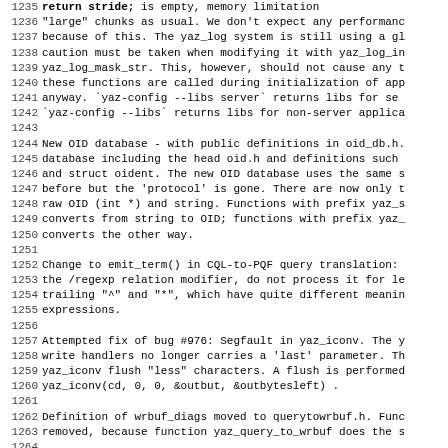1235 return stride; is empty, memory limitation
1236 "large" chunks as usual. We don't expect any performance
1237 because of this. The yaz_log system is still using a gl
1238 caution must be taken when modifying it with yaz_log_in
1239 yaz_log_mask_str. This, however, should not cause any t
1240 these functions are called during initialization of app
1241 anyway. `yaz-config --libs  server` returns libs for se
1242 `yaz-config --libs` returns libs for non-server applica
1243
1244 New OID database - with public definitions in oid_db.h.
1245 database including the head oid.h and definitions such
1246 and struct oident. The new OID database uses the same s
1247 before but the 'protocol' is gone. There are now only t
1248 raw OID (int *) and string. Functions with prefix yaz_s
1249 converts from string to OID; functions with prefix yaz_
1250 converts the other way.
1251
1252 Change to emit_term() in CQL-to-PQF query translation:
1253 the /regexp relation modifier, do not process it for le
1254 trailing "^" and "*", which have quite different meanin
1255 expressions.
1256
1257 Attempted fix of bug #976: Segfault in yaz_iconv. The y
1258 write handlers no longer carries a 'last' parameter. Th
1259 yaz_iconv flush "less" characters. A flush is performed
1260 yaz_iconv(cd, 0, 0, &outbut, &outbytesleft) .
1261
1262 Definition of wrbuf_diags moved to querytowrbuf.h. Func
1263 removed, because function yaz_query_to_wrbuf does the s
1264
1265 API changes to WRBUF. wrbuf_free removed; replaced by w
1266 wrbuf_puts no longer appends '\0'. Use wrbuf_cstr to ge
1267